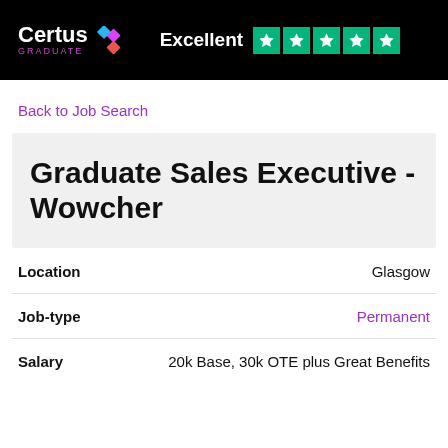Certus GRADUATE | Excellent ★★★★★
Back to Job Search
Graduate Sales Executive - Wowcher
Location: Glasgow
Job-type: Permanent
Salary: 20k Base, 30k OTE plus Great Benefits